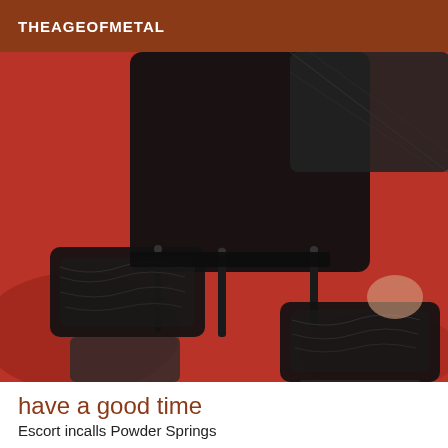THEAGEOFMETAL
[Figure (photo): A person lying on red bedding wearing black lingerie with garter belt and lace stocking tops]
have a good time
Escort incalls Powder Springs